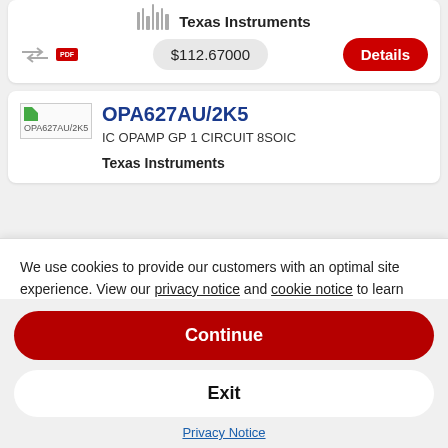Texas Instruments
$112.67000
Details
OPA627AU/2K5
IC OPAMP GP 1 CIRCUIT 8SOIC
Texas Instruments
We use cookies to provide our customers with an optimal site experience. View our privacy notice and cookie notice to learn more about how we use cookies and how to manage your settings. By proceeding on our website you consent to the use of cookies.
Continue
Exit
Privacy Notice